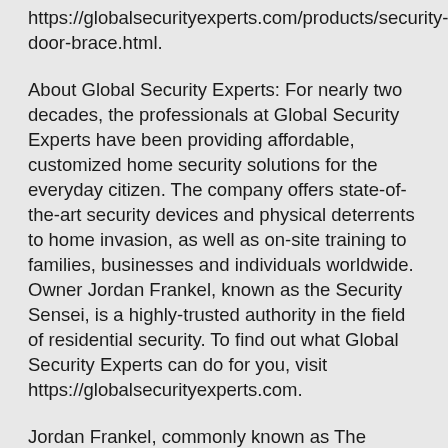https://globalsecurityexperts.com/products/security-door-brace.html.
About Global Security Experts: For nearly two decades, the professionals at Global Security Experts have been providing affordable, customized home security solutions for the everyday citizen. The company offers state-of-the-art security devices and physical deterrents to home invasion, as well as on-site training to families, businesses and individuals worldwide. Owner Jordan Frankel, known as the Security Sensei, is a highly-trusted authority in the field of residential security. To find out what Global Security Experts can do for you, visit https://globalsecurityexperts.com.
Jordan Frankel, commonly known as The Security Sensei develops revolutionary security products